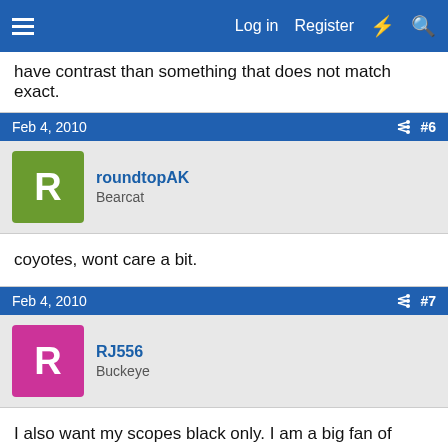Log in  Register
have contrast than something that does not match exact.
Feb 4, 2010  #6
roundtopAK
Bearcat
coyotes, wont care a bit.
Feb 4, 2010  #7
RJ556
Buckeye
I also want my scopes black only. I am a big fan of stainless and walnut. I always bead blast my stainless guns for a less reflective better looking finish. I think black scopes look better because if you cannot get a good match, a contrast looks better